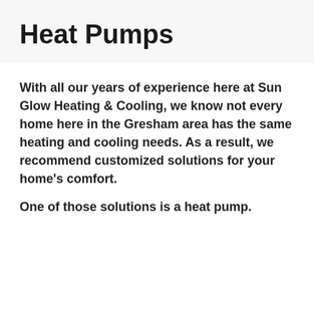Heat Pumps
With all our years of experience here at Sun Glow Heating & Cooling, we know not every home here in the Gresham area has the same heating and cooling needs. As a result, we recommend customized solutions for your home's comfort.
One of those solutions is a heat pump.